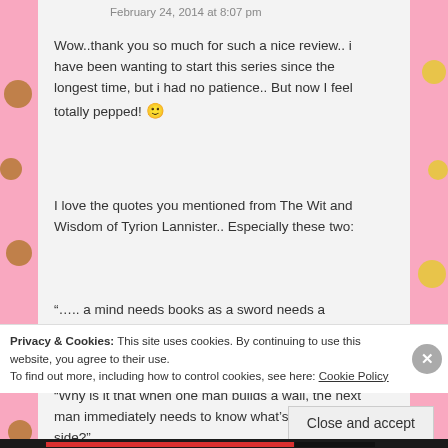February 24, 2014 at 8:07 pm
Wow..thank you so much for such a nice review.. i have been wanting to start this series since the longest time, but i had no patience.. But now I feel totally pepped! 🙂
I love the quotes you mentioned from The Wit and Wisdom of Tyrion Lannister.. Especially these two:
"….. a mind needs books as a sword needs a whetstone if it is to keep its edge."
"Why is it that when one man builds a wall, the next man immediately needs to know what's on the other side?"
Privacy & Cookies: This site uses cookies. By continuing to use this website, you agree to their use.
To find out more, including how to control cookies, see here: Cookie Policy
Close and accept